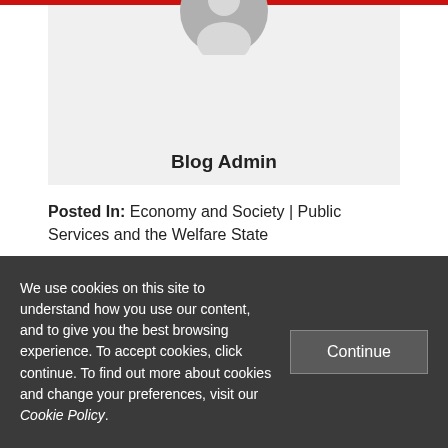[Figure (illustration): Gray circular avatar icon with silhouette of a person, displayed above a light gray profile section background]
Blog Admin
Posted In: Economy and Society | Public Services and the Welfare State
5 Comments
We use cookies on this site to understand how you use our content, and to give you the best browsing experience. To accept cookies, click continue. To find out more about cookies and change your preferences, visit our Cookie Policy.